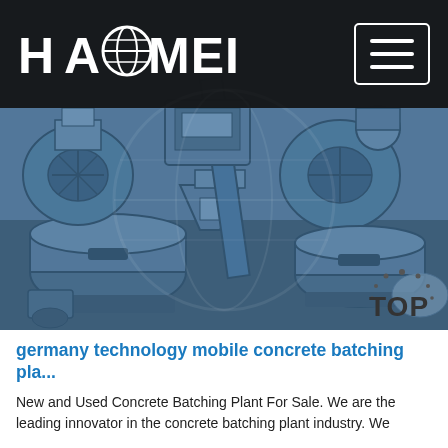HAOMEI (logo with globe icon and hamburger menu)
[Figure (photo): Aerial view of blue-painted industrial concrete batching plant machinery and equipment components arranged on a factory floor, with a blue color cast overlay.]
germany technology mobile concrete batching pla...
New and Used Concrete Batching Plant For Sale. We are the leading innovator in the concrete batching plant industry. We